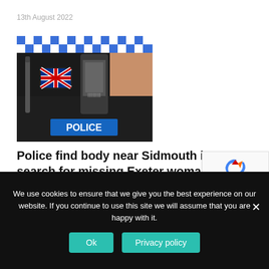13th August 2022
[Figure (photo): Close-up photo of a police officer's vest showing a Union Jack badge, radio equipment, and a blue 'POLICE' label at the bottom]
Police find body near Sidmouth in search for missing Exeter woman
11th August 2022
[Figure (other): reCAPTCHA badge with logo and Privacy - Terms links]
We use cookies to ensure that we give you the best experience on our website. If you continue to use this site we will assume that you are happy with it.